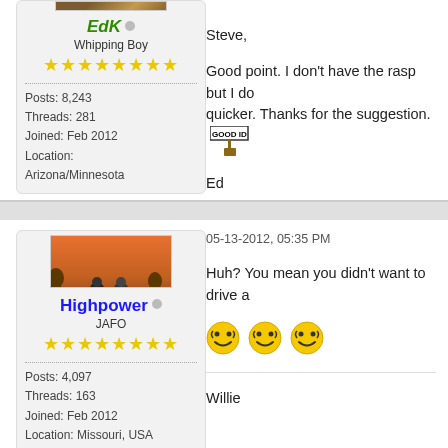[Figure (photo): EdK user avatar - partial image at top]
EdK (online indicator)
Whipping Boy
★★★★★★★★
Posts: 8,243
Threads: 281
Joined: Feb 2012
Location: Arizona/Minnesota
Steve,

Good point. I don't have the rasp but I do... quicker. Thanks for the suggestion.

Ed
05-13-2012, 05:35 PM
[Figure (photo): Highpower user avatar - motorcyclists on a road with sunset background]
Highpower (online indicator)
JAFO
★★★★★★★★
Posts: 4,097
Threads: 163
Joined: Feb 2012
Location: Missouri, USA
Huh? You mean you didn't want to drive a...

[smiley faces x3]

Willie